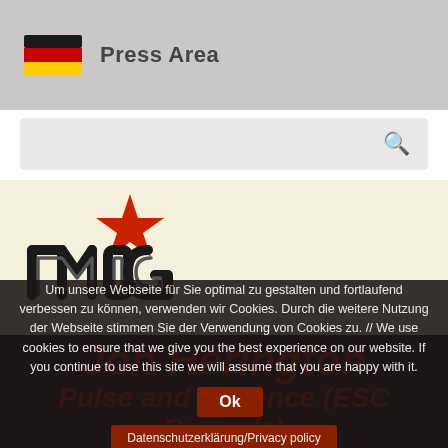Press Area
[Figure (screenshot): MIG music logo with red star on cream background]
Jon Herington
Pulse and Cadence (ESC Records)
Um unsere Webseite für Sie optimal zu gestalten und fortlaufend verbessern zu können, verwenden wir Cookies. Durch die weitere Nutzung der Webseite stimmen Sie der Verwendung von Cookies zu. // We use cookies to ensure that we give you the best experience on our website. If you continue to use this site we will assume that you are happy with it.
Ok
Datenschutzerklärung/Privacy policy